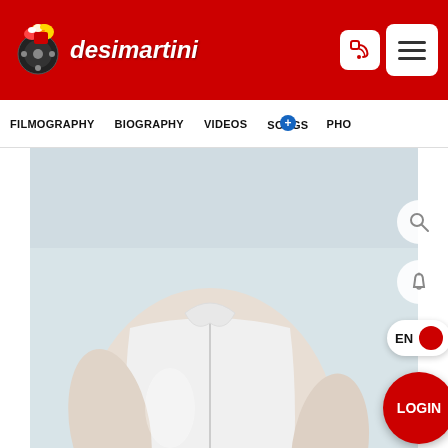[Figure (screenshot): Desimartini website header with red background, logo on left, RSS and hamburger menu icons on right]
desimartini
FILMOGRAPHY   BIOGRAPHY   VIDEOS   SONGS   PHO
[Figure (photo): A man wearing a white polo shirt, cropped to show torso only, against a light grey background. Actor Nagarjuna profile photo.]
Nagarjuna
Are you a fan 🎬
[Figure (photo): Blurred/greyed out image at bottom, partially visible content]